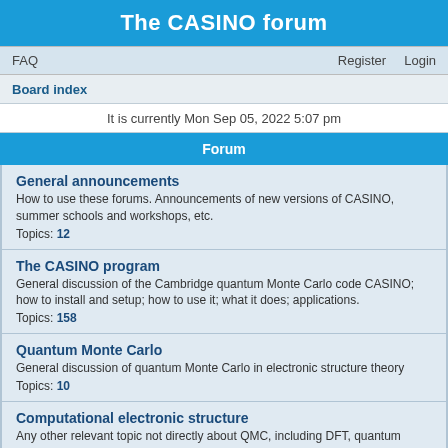The CASINO forum
FAQ    Register    Login
Board index
It is currently Mon Sep 05, 2022 5:07 pm
Forum
General announcements
How to use these forums. Announcements of new versions of CASINO, summer schools and workshops, etc.
Topics: 12
The CASINO program
General discussion of the Cambridge quantum Monte Carlo code CASINO; how to install and setup; how to use it; what it does; applications.
Topics: 158
Quantum Monte Carlo
General discussion of quantum Monte Carlo in electronic structure theory
Topics: 10
Computational electronic structure
Any other relevant topic not directly about QMC, including DFT, quantum chemistry, etc..
Topics: 4
Jobs
QMC job adverts; careers advice
Topics: 10